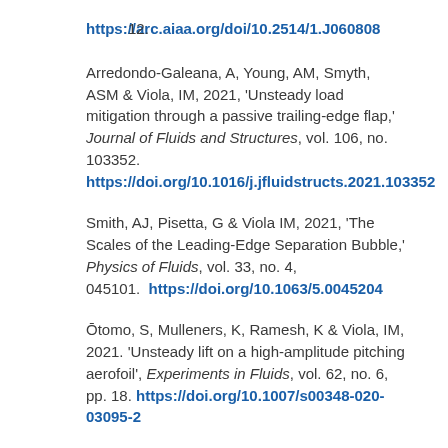12. https://arc.aiaa.org/doi/10.2514/1.J060808
Arredondo-Galeana, A, Young, AM, Smyth, ASM & Viola, IM, 2021, 'Unsteady load mitigation through a passive trailing-edge flap,' Journal of Fluids and Structures, vol. 106, no. 103352. https://doi.org/10.1016/j.jfluidstructs.2021.103352
Smith, AJ, Pisetta, G & Viola IM, 2021, 'The Scales of the Leading-Edge Separation Bubble,' Physics of Fluids, vol. 33, no. 4, 045101. https://doi.org/10.1063/5.0045204
Ōtomo, S, Mulleners, K, Ramesh, K & Viola, IM, 2021. 'Unsteady lift on a high-amplitude pitching aerofoil', Experiments in Fluids, vol. 62, no. 6, pp. 18. https://doi.org/10.1007/s00348-020-03095-2
Viola, IM, Chapin, VG, Speranza, N & Biancolini, M, 2018, 'Optimal airfoil's shapes by high fidelity CFD,' Aircraft